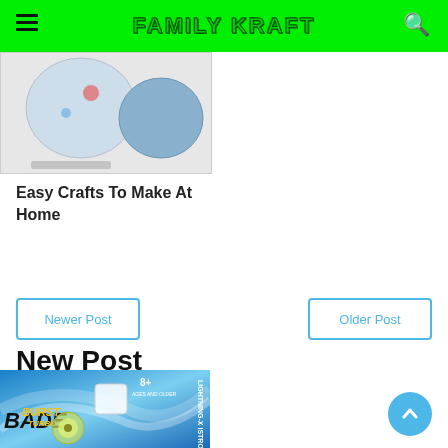FAMILY KRAFT
[Figure (photo): Craft items photo showing decorative fabric and craft materials on a white background]
Easy Crafts To Make At Home
Newer Post
Older Post
New Post
[Figure (photo): Beyblade Burst Turbo toy packaging showing Lightning-X Istros 14, rated 8+, with blue swirl background]